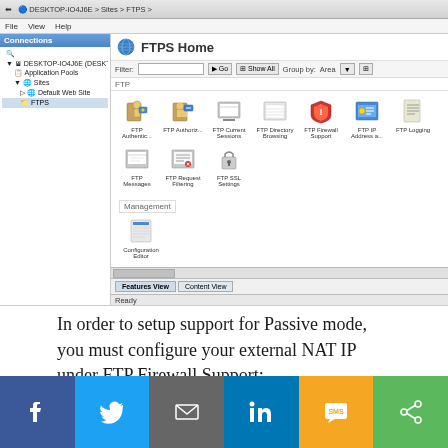[Figure (screenshot): IIS Manager screenshot showing FTPS Home panel with FTP icons including FTP Authentication, FTP Authorization Rules, FTP Current Sessions, FTP Directory Browsing, FTP Firewall Support, FTP IP Address and Domain, FTP Logging, FTP Messages, FTP Request Filtering, FTP SSL Settings, and a Management section with Configuration Editor. Left panel shows Connections tree with DESKTOP-IO4J6E, Application Pools, Sites, Default Web Site, FTPS.]
In order to setup support for Passive mode, you must configure your external NAT IP under FTP Firewall Support:
[Figure (other): Social sharing bar with Facebook, Twitter, Email, LinkedIn, SMS, and Share buttons]